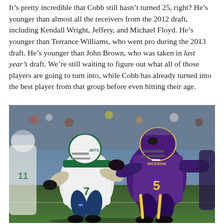It’s pretty incredible that Cobb still hasn’t turned 25, right? He’s younger than almost all the receivers from the 2012 draft, including Kendall Wright, Jeffery, and Michael Floyd. He’s younger than Terrance Williams, who went pro during the 2013 draft. He’s younger than John Brown, who was taken in last year’s draft. We’re still waiting to figure out what all of those players are going to turn into, while Cobb has already turned into the best player from that group before even hitting their age.
[Figure (photo): Football action photo showing a New York Jets player in white uniform being tackled/grabbed by a Baltimore Ravens player in purple uniform wearing number 5. The image is taken during an NFL game.]